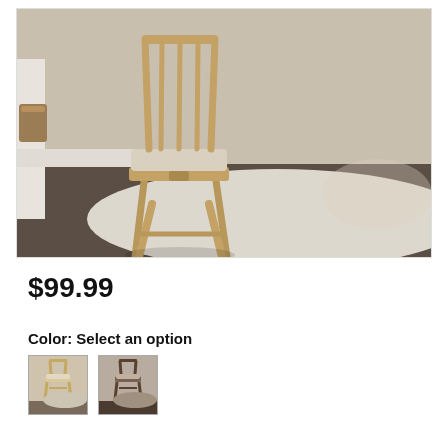[Figure (photo): A wooden bar stool with upholstered beige seat and slatted back, placed on a light area rug in a room with gray flooring and light walls.]
$99.99
Color: Select an option
[Figure (photo): Small thumbnail of light wood bar stool.]
[Figure (photo): Small thumbnail of dark wood bar stool.]